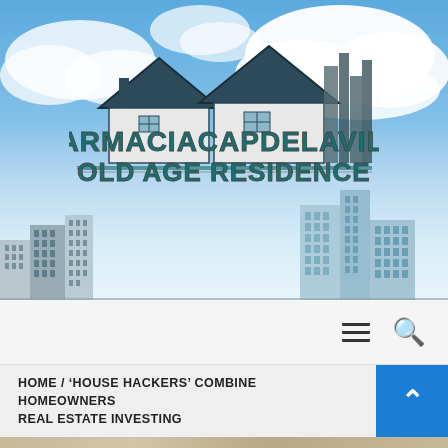[Figure (logo): Farmaciacapdelavila Old Age Residence logo with house/rooftop icons above city skyline on blue sky background]
≡  🔍
HOME / 'HOUSE HACKERS' COMBINE HOMEOWNERS REAL ESTATE INVESTING
[Figure (photo): Partial bottom strip showing a photo]